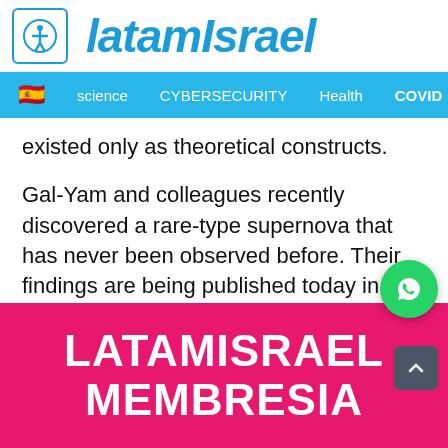latamIsrael
science | CYBERSECURITY | Health | COVID
existed only as theoretical constructs.
Gal-Yam and colleagues recently discovered a rare-type supernova that has never been observed before. Their findings are being published today in Nature.
[Figure (infographic): Pink/magenta banner with white bold text reading LATAMISRAEL MEMBRESIA, with a WhatsApp icon in the top right corner]